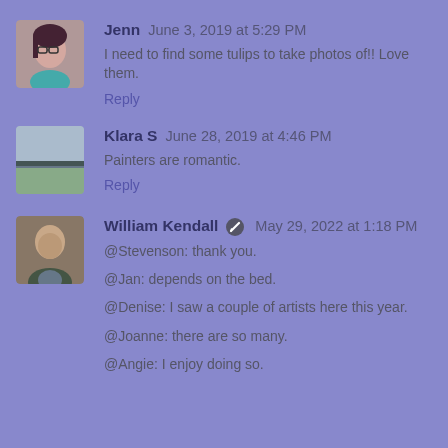[Figure (photo): Avatar photo of Jenn - woman with glasses]
Jenn June 3, 2019 at 5:29 PM
I need to find some tulips to take photos of!! Love them.
Reply
[Figure (photo): Avatar photo of Klara S - landscape field]
Klara S June 28, 2019 at 4:46 PM
Painters are romantic.
Reply
[Figure (photo): Avatar photo of William Kendall - bald man]
William Kendall [edit icon] May 29, 2022 at 1:18 PM
@Stevenson: thank you.
@Jan: depends on the bed.
@Denise: I saw a couple of artists here this year.
@Joanne: there are so many.
@Angie: I enjoy doing so.